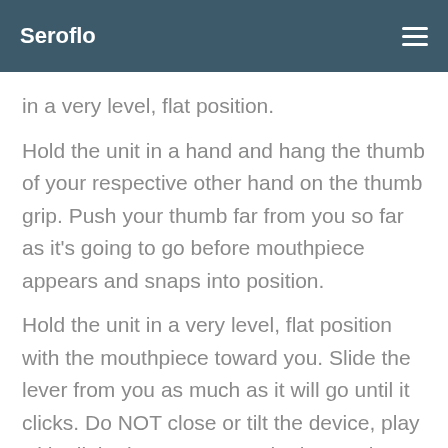Seroflo
in a very level, flat position.
Hold the unit in a hand and hang the thumb of your respective other hand on the thumb grip. Push your thumb far from you so far as it's going to go before mouthpiece appears and snaps into position.
Hold the unit in a very level, flat position with the mouthpiece toward you. Slide the lever from you as much as it will go until it clicks. Do NOT close or tilt the device, play with all the lever, or move the lever a lot more than 1